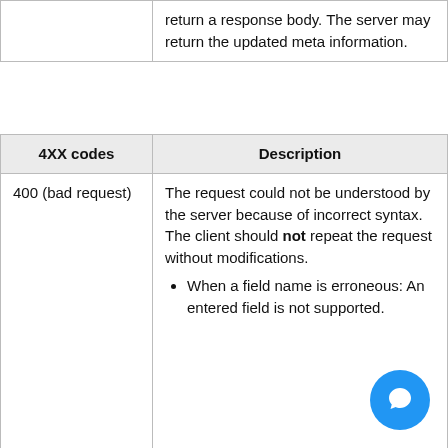|  | return a response body. The server may return the updated meta information. |
| 4XX codes | Description |
| --- | --- |
| 400 (bad request) | The request could not be understood by the server because of incorrect syntax. The client should not repeat the request without modifications.
• When a field name is erroneous: An entered field is not supported. |